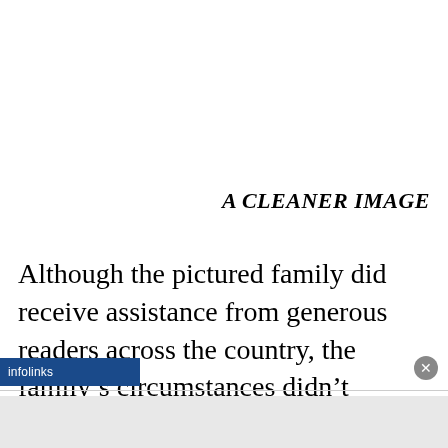A CLEANER IMAGE
Although the pictured family did receive assistance from generous readers across the country, the family's circumstances didn't